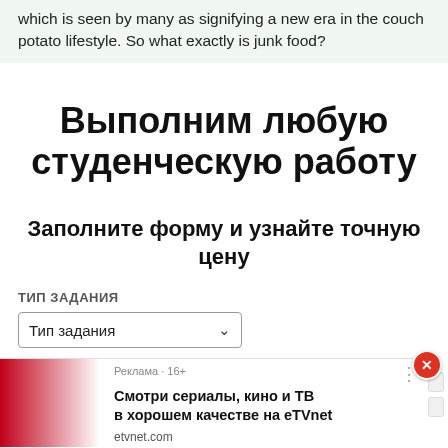which is seen by many as signifying a new era in the couch potato lifestyle. So what exactly is junk food?
Выполним любую студенческую работу
Заполните форму и узнайте точную цену
ТИП ЗАДАНИЯ
Тип задания
[Figure (screenshot): Advertisement banner with red gradient image on left and text: Реклама · 16+ | Смотри сериалы, кино и ТВ в хорошем качестве на eTVnet | etvnet.com. Close button (red circle with X) in top right.]